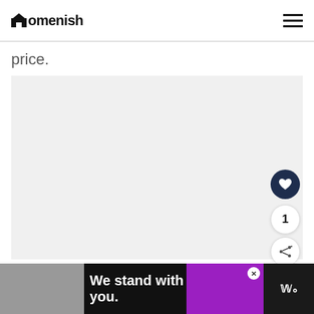Homenish
price.
[Figure (photo): Light gray image placeholder rectangle]
We stand with you.